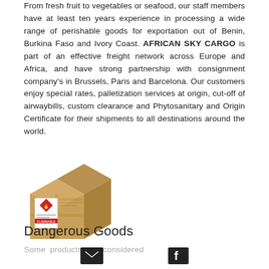From fresh fruit to vegetables or seafood, our staff members have at least ten years experience in processing a wide range of perishable goods for exportation out of Benin, Burkina Faso and Ivory Coast. AFRICAN SKY CARGO is part of an effective freight network across Europe and Africa, and have strong partnership with consignment company's in Brussels, Paris and Barcelona. Our customers enjoy special rates, palletization services at origin, cut-off of airwaybills, custom clearance and Phytosanitary and Origin Certificate for their shipments to all destinations around the world.
[Figure (photo): A cardboard shipping box with a flammable/hazardous goods warning label (red diamond) on the side.]
Dangerous Goods
Some products are considered
Email icon | Facebook icon